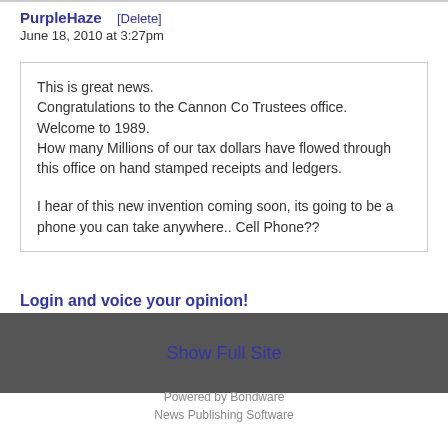PurpleHaze [Delete]
June 18, 2010 at 3:27pm
This is great news.
Congratulations to the Cannon Co Trustees office.
Welcome to 1989.
How many Millions of our tax dollars have flowed through this office on hand stamped receipts and ledgers.

I hear of this new invention coming soon, its going to be a phone you can take anywhere.. Cell Phone??
Login and voice your opinion!
Show Full Site
Powered by Bondware
News Publishing Software